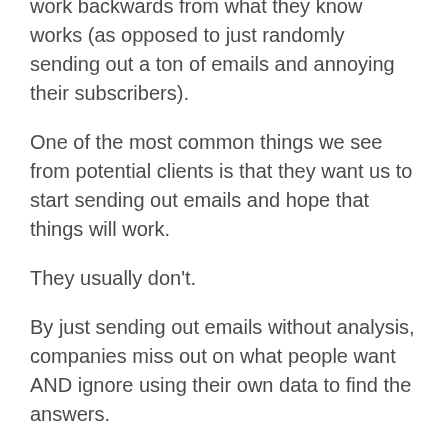work backwards from what they know works (as opposed to just randomly sending out a ton of emails and annoying their subscribers).
One of the most common things we see from potential clients is that they want us to start sending out emails and hope that things will work.
They usually don't.
By just sending out emails without analysis, companies miss out on what people want AND ignore using their own data to find the answers.
Our email marketing data